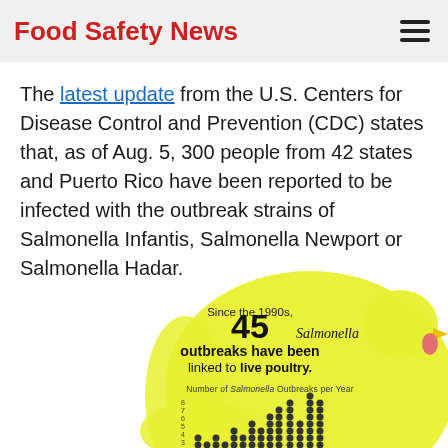Food Safety News
The latest update from the U.S. Centers for Disease Control and Prevention (CDC) states that, as of Aug. 5, 300 people from 42 states and Puerto Rico have been reported to be infected with the outbreak strains of Salmonella Infantis, Salmonella Newport or Salmonella Hadar.
[Figure (infographic): Yellow chicken-silhouette infographic showing: 'Since the 1990s, 45 Salmonella outbreaks have been linked to live poultry.' with a dot chart below titled 'Number of Salmonella Outbreaks per Year' showing increasing outbreaks over time, partially cropped at bottom of page.]